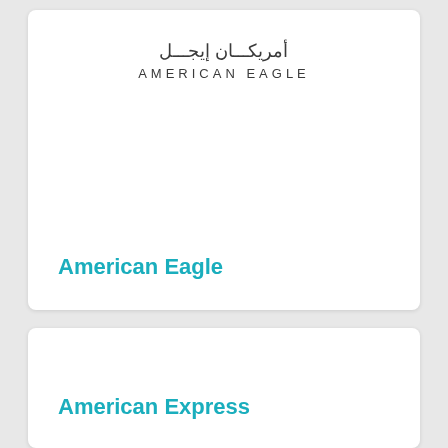[Figure (logo): American Eagle logo with Arabic text above (أمريكان إيجل) and English text below (AMERICAN EAGLE)]
American Eagle
American Express